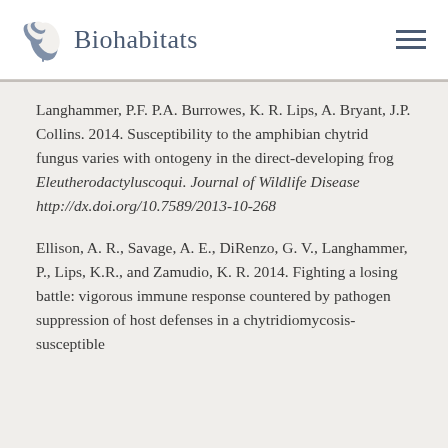[Figure (logo): Biohabitats logo with leaf/plant illustration and the text 'Biohabitats']
Langhammer, P.F. P.A. Burrowes, K. R. Lips, A. Bryant, J.P. Collins. 2014. Susceptibility to the amphibian chytrid fungus varies with ontogeny in the direct-developing frog Eleutherodactyluscoqui. Journal of Wildlife Disease http://dx.doi.org/10.7589/2013-10-268
Ellison, A. R., Savage, A. E., DiRenzo, G. V., Langhammer, P., Lips, K.R., and Zamudio, K. R. 2014. Fighting a losing battle: vigorous immune response countered by pathogen suppression of host defenses in a chytridiomycosis-susceptible